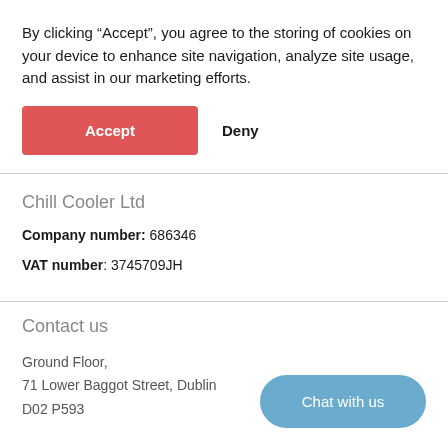By clicking “Accept”, you agree to the storing of cookies on your device to enhance site navigation, analyze site usage, and assist in our marketing efforts.
Accept
Deny
Chill Cooler Ltd
Company number: 686346
VAT number: 3745709JH
Contact us
Ground Floor,
71 Lower Baggot Street, Dublin
D02 P593
Chat with us